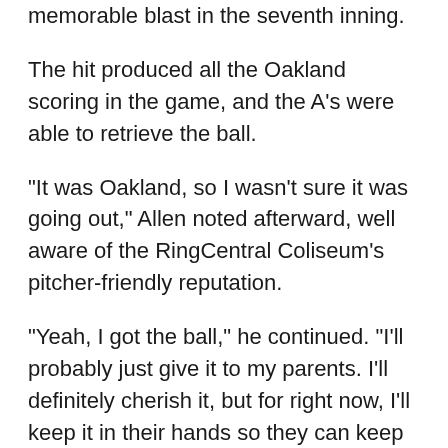memorable blast in the seventh inning.
The hit produced all the Oakland scoring in the game, and the A's were able to retrieve the ball.
"It was Oakland, so I wasn't sure it was going out," Allen noted afterward, well aware of the RingCentral Coliseum's pitcher-friendly reputation.
"Yeah, I got the ball," he continued. "I'll probably just give it to my parents. I'll definitely cherish it, but for right now, I'll keep it in their hands so they can keep it safe."